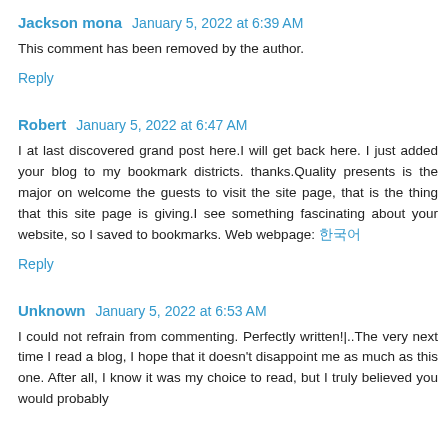Jackson mona  January 5, 2022 at 6:39 AM
This comment has been removed by the author.
Reply
Robert  January 5, 2022 at 6:47 AM
I at last discovered grand post here.I will get back here. I just added your blog to my bookmark districts. thanks.Quality presents is the major on welcome the guests to visit the site page, that is the thing that this site page is giving.I see something fascinating about your website, so I saved to bookmarks. Web webpage: 한국어
Reply
Unknown  January 5, 2022 at 6:53 AM
I could not refrain from commenting. Perfectly written!|..The very next time I read a blog, I hope that it doesn't disappoint me as much as this one. After all, I know it was my choice to read, but I truly believed you would probably